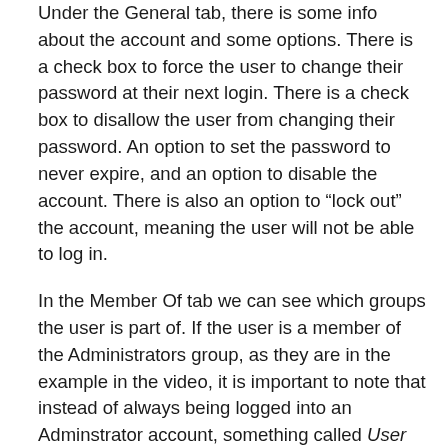Under the General tab, there is some info about the account and some options. There is a check box to force the user to change their password at their next login. There is a check box to disallow the user from changing their password. An option to set the password to never expire, and an option to disable the account. There is also an option to “lock out” the account, meaning the user will not be able to log in.
In the Member Of tab we can see which groups the user is part of. If the user is a member of the Administrators group, as they are in the example in the video, it is important to note that instead of always being logged into an Adminstrator account, something called User Access Control (UAC) allows you to enter a password to enable admin changes to the system. UAC ensures that only administrators can make changes to the system.